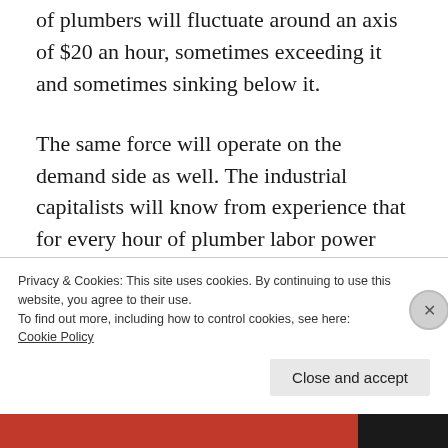of plumbers will fluctuate around an axis of $20 an hour, sometimes exceeding it and sometimes sinking below it.
The same force will operate on the demand side as well. The industrial capitalists will know from experience that for every hour of plumber labor power they employ they can add $20 to the cost price. Normally—on average—for every additional hour of plumber labor power they purchase, their
Privacy & Cookies: This site uses cookies. By continuing to use this website, you agree to their use.
To find out more, including how to control cookies, see here: Cookie Policy